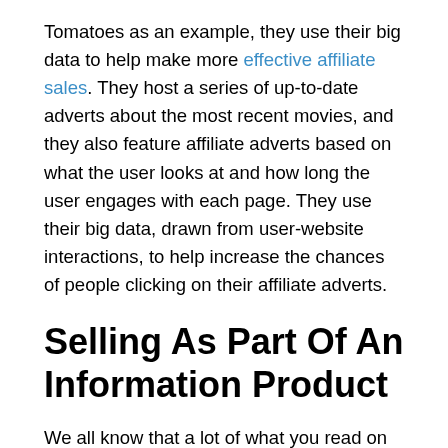Tomatoes as an example, they use their big data to help make more effective affiliate sales. They host a series of up-to-date adverts about the most recent movies, and they also feature affiliate adverts based on what the user looks at and how long the user engages with each page. They use their big data, drawn from user-website interactions, to help increase the chances of people clicking on their affiliate adverts.
Selling As Part Of An Information Product
We all know that a lot of what you read on the Internet is either semi-true or not true at all. What is true seems to be based on which website is the best at SEO (Search Engine Optimization). Yet, there are some companies and